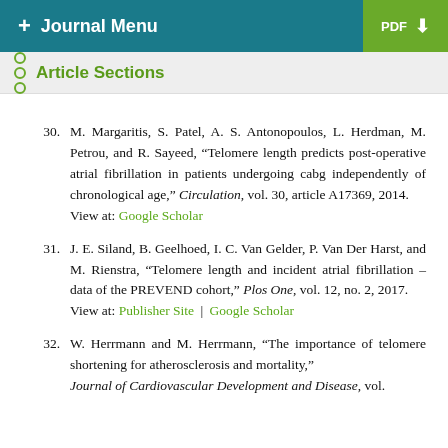+ Journal Menu | PDF
Article Sections
30. M. Margaritis, S. Patel, A. S. Antonopoulos, L. Herdman, M. Petrou, and R. Sayeed, "Telomere length predicts post-operative atrial fibrillation in patients undergoing cabg independently of chronological age," Circulation, vol. 30, article A17369, 2014. View at: Google Scholar
31. J. E. Siland, B. Geelhoed, I. C. Van Gelder, P. Van Der Harst, and M. Rienstra, "Telomere length and incident atrial fibrillation – data of the PREVEND cohort," Plos One, vol. 12, no. 2, 2017. View at: Publisher Site | Google Scholar
32. W. Herrmann and M. Herrmann, "The importance of telomere shortening for atherosclerosis and mortality," Journal of Cardiovascular Development and Disease, vol.